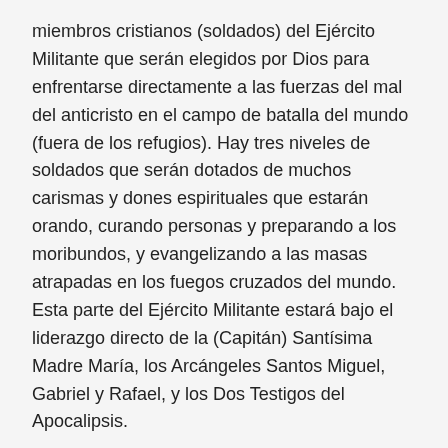miembros cristianos (soldados) del Ejército Militante que serán elegidos por Dios para enfrentarse directamente a las fuerzas del mal del anticristo en el campo de batalla del mundo (fuera de los refugios). Hay tres niveles de soldados que serán dotados de muchos carismas y dones espirituales que estarán orando, curando personas y preparando a los moribundos, y evangelizando a las masas atrapadas en los fuegos cruzados del mundo. Esta parte del Ejército Militante estará bajo el liderazgo directo de la (Capitán) Santísima Madre María, los Arcángeles Santos Miguel, Gabriel y Rafael, y los Dos Testigos del Apocalipsis.
Aunque los mensajes celestiales abordan mucho sobre el Ejército Militante, también se proporcionan otras revelaciones, como interpretaciones proféticas de Nuestro Señor, Jesucristo y el Espíritu Santo, sobre la